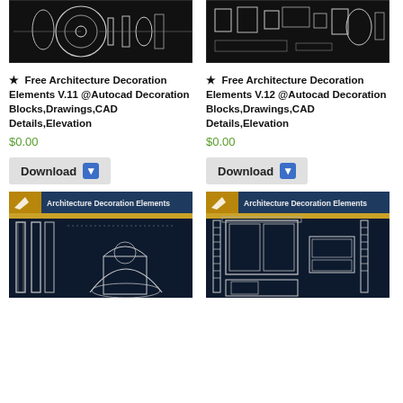[Figure (screenshot): CAD drawing screenshot showing architectural decoration elements V.11 on dark background]
[Figure (screenshot): CAD drawing screenshot showing architectural decoration elements V.12 on dark background]
★  Free Architecture Decoration Elements V.11 @Autocad Decoration Blocks,Drawings,CAD Details,Elevation
★  Free Architecture Decoration Elements V.12 @Autocad Decoration Blocks,Drawings,CAD Details,Elevation
$0.00
$0.00
Download
Download
[Figure (screenshot): CAD drawing showing columns and arched window with Architecture Decoration Elements header]
[Figure (screenshot): CAD drawing showing window/door elevations with Architecture Decoration Elements header]